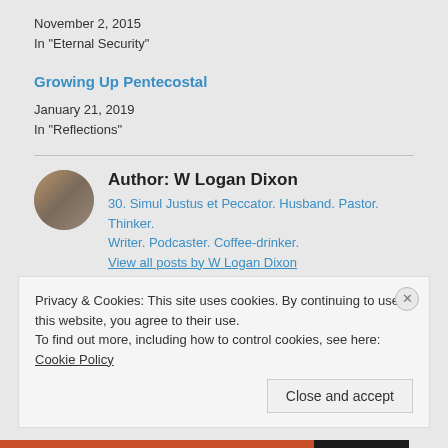November 2, 2015
In "Eternal Security"
Growing Up Pentecostal
January 21, 2019
In "Reflections"
Author: W Logan Dixon
30. Simul Justus et Peccator. Husband. Pastor. Thinker. Writer. Podcaster. Coffee-drinker.
View all posts by W Logan Dixon
Privacy & Cookies: This site uses cookies. By continuing to use this website, you agree to their use.
To find out more, including how to control cookies, see here: Cookie Policy
Close and accept